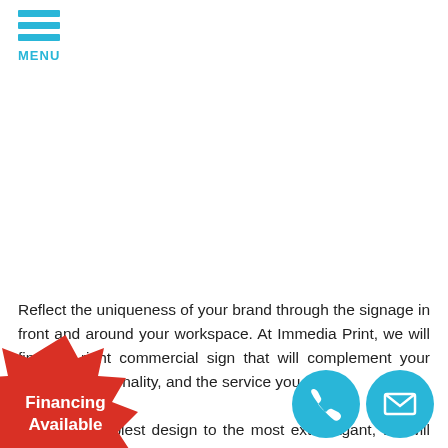MENU
[Figure (illustration): Financing Available red starburst badge with white bold text]
Reflect the uniqueness of your brand through the signage in front and around your workspace. At Immedia Print, we will find the right commercial sign that will complement your business personality, and the service you offer.
From the simplest design to the most extravagant, we will apply the spirit of professionalism and creativity all
[Figure (illustration): Cyan circle phone icon]
[Figure (illustration): Cyan circle email/envelope icon]